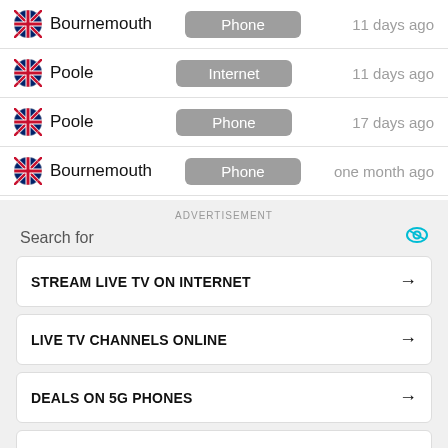Bournemouth | Phone | 11 days ago
Poole | Internet | 11 days ago
Poole | Phone | 17 days ago
Bournemouth | Phone | one month ago
ADVERTISEMENT
Search for
STREAM LIVE TV ON INTERNET →
LIVE TV CHANNELS ONLINE →
DEALS ON 5G PHONES →
GREATCALL SENIOR CELL PHONE →
CHEAP CELL PHONE DISCOUNT FOR →